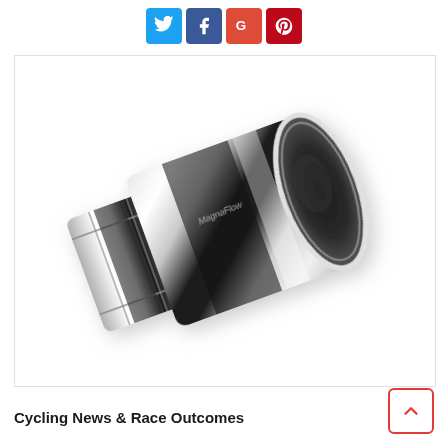[Figure (other): Social media sharing icons: Twitter (blue), Facebook (dark blue), Google+ (red), Pinterest (red)]
[Figure (photo): Polished chrome exhaust tip (MagnaFlow brand) shown at an angle, cylindrical with a round opening, highly reflective stainless steel surface with dark shadow reflection]
Cycling News & Race Outcomes